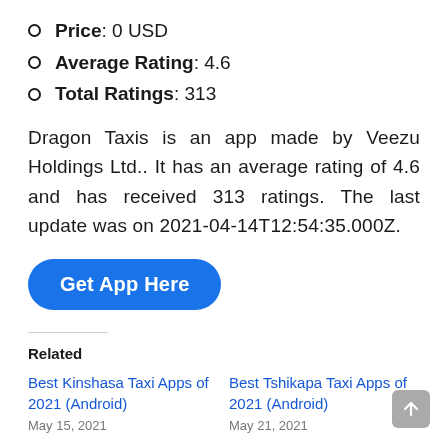Price: 0 USD
Average Rating: 4.6
Total Ratings: 313
Dragon Taxis is an app made by Veezu Holdings Ltd.. It has an average rating of 4.6 and has received 313 ratings. The last update was on 2021-04-14T12:54:35.000Z.
Get App Here
Related
Best Kinshasa Taxi Apps of 2021 (Android)
May 15, 2021
Best Tshikapa Taxi Apps of 2021 (Android)
May 21, 2021